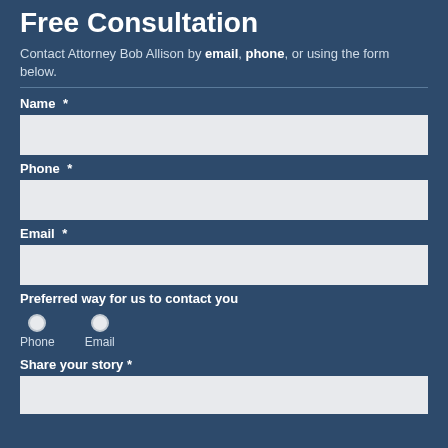Free Consultation
Contact Attorney Bob Allison by email, phone, or using the form below.
Name *
Phone *
Email *
Preferred way for us to contact you
Phone
Email
Share your story *